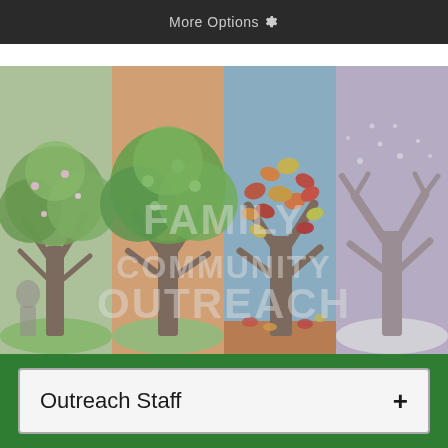More Options ⚙
[Figure (illustration): Four seasons trees illustration overlay with semi-transparent watermark text reading FAMILY COMMUNITY OUTREACH. Four panels show spring (green tree with blossoms), summer (orange background green tree), autumn (blue background colorful leaves), winter (purple background bare tree with snow).]
Outreach Staff +